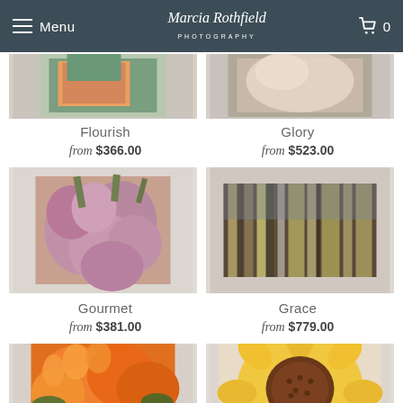Menu | Marcia Rothfield Photography | Cart 0
[Figure (photo): Partial thumbnail of Flourish photography print - top portion visible]
[Figure (photo): Partial thumbnail of Glory photography print - top portion visible]
Flourish
from $366.00
Glory
from $523.00
[Figure (photo): Gourmet photography print - purple/pink garlic bulbs closeup]
[Figure (photo): Grace photography print - abstract blurred golden/blue vertical streaks]
Gourmet
from $381.00
Grace
from $779.00
[Figure (photo): Partial thumbnail of orange flowers photography print at bottom]
[Figure (photo): Partial thumbnail of sunflower photography print at bottom]